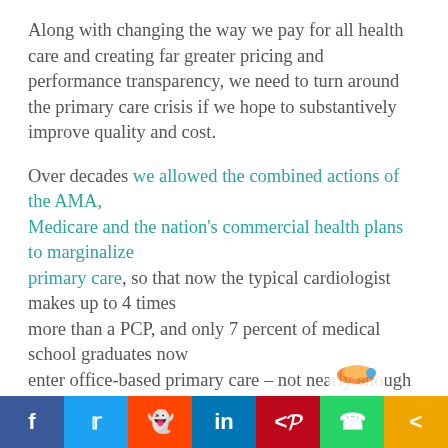Along with changing the way we pay for all health care and creating far greater pricing and performance transparency, we need to turn around the primary care crisis if we hope to substantively improve quality and cost.
Over decades we allowed the combined actions of the AMA, Medicare and the nation's commercial health plans to marginalize primary care, so that now the typical cardiologist makes up to 4 times more than a PCP, and only 7 percent of medical school graduates now enter office-based primary care – not nearly enough to care for the aging boomer population that's